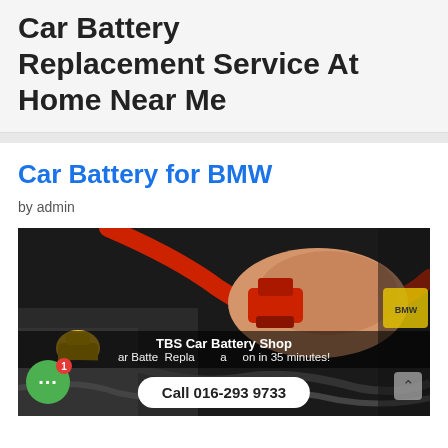Car Battery Replacement Service At Home Near Me
Car Battery for BMW
by admin
[Figure (photo): Photo of a person holding red jumper cable clamp on a car battery. Overlay shows 'TBS Car Battery Shop' with text 'Car Battery Replacement/Installation in 35 minutes!' and a call button 'Call 016-293 9733'. A green chat bubble widget with notification badge is visible bottom-left.]